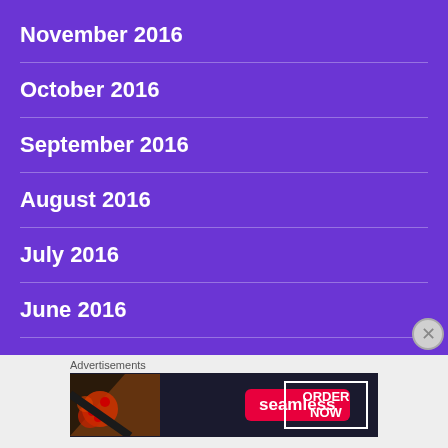November 2016
October 2016
September 2016
August 2016
July 2016
June 2016
May 2016
Advertisements
[Figure (other): Seamless food delivery advertisement banner with pizza image, Seamless logo in red, and ORDER NOW button]